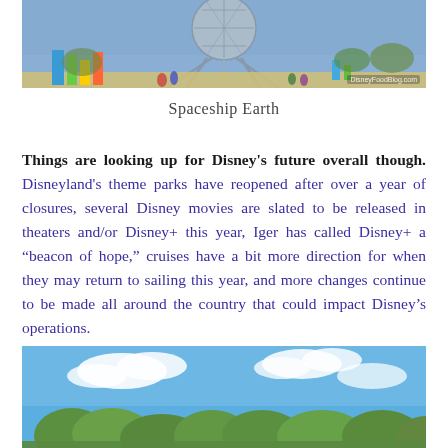[Figure (photo): Photo of Spaceship Earth at EPCOT with colorful signage and visitors, watermark DisneyFoodBlog.com]
Spaceship Earth
Things are looking up for Disney's future overall though. Disneyland's theme parks have reopened after over a year of closures, several Disney movies are slated to be released in theaters and/or Disney+ this year, Iger has called Disney+ a “beacon of hope,” cruises have a bit more direction for when they may return to sailing this year, and more changes continue to be made all around the country that could impact Disney’s operations.
[Figure (photo): Photo of blue sky with white clouds and green treetops at a Disney park]